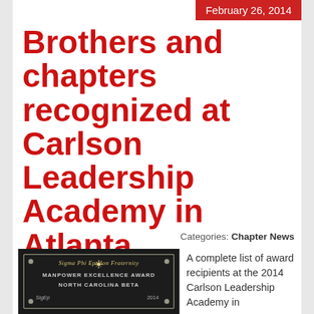February 26, 2014
Brothers and chapters recognized at Carlson Leadership Academy in Atlanta
Categories: Chapter News
[Figure (photo): A framed award plaque from Sigma Phi Epsilon Fraternity showing Manpower Excellence Award, North Carolina Beta, SigEp 2014]
A complete list of award recipients at the 2014 Carlson Leadership Academy in